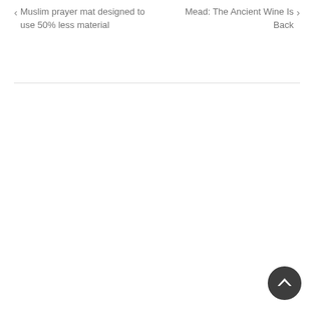← Muslim prayer mat designed to use 50% less material
Mead: The Ancient Wine Is Back →
[Figure (other): Back to top circular button with upward chevron arrow, dark gray background]